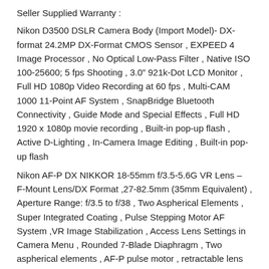Seller Supplied Warranty :
Nikon D3500 DSLR Camera Body (Import Model)- DX-format 24.2MP DX-Format CMOS Sensor , EXPEED 4 Image Processor , No Optical Low-Pass Filter , Native ISO 100-25600; 5 fps Shooting , 3.0" 921k-Dot LCD Monitor , Full HD 1080p Video Recording at 60 fps , Multi-CAM 1000 11-Point AF System , SnapBridge Bluetooth Connectivity , Guide Mode and Special Effects , Full HD 1920 x 1080p movie recording , Built-in pop-up flash , Active D-Lighting , In-Camera Image Editing , Built-in pop-up flash
Nikon AF-P DX NIKKOR 18-55mm f/3.5-5.6G VR Lens – F-Mount Lens/DX Format ,27-82.5mm (35mm Equivalent) , Aperture Range: f/3.5 to f/38 , Two Aspherical Elements , Super Integrated Coating , Pulse Stepping Motor AF System ,VR Image Stabilization , Access Lens Settings in Camera Menu , Rounded 7-Blade Diaphragm , Two aspherical elements , AF-P pulse motor , retractable lens barrel
Nikon AF-P DX NIKKOR 70-300mm f/4.5-6.3G ED Lens – F-Mount